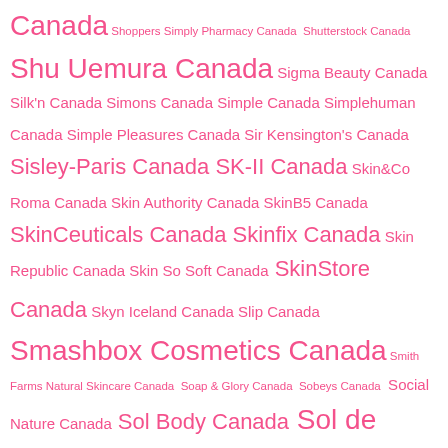Canada Shoppers Simply Pharmacy Canada Shutterstock Canada Shu Uemura Canada Sigma Beauty Canada Silk'n Canada Simons Canada Simple Canada Simplehuman Canada Simple Pleasures Canada Sir Kensington's Canada Sisley-Paris Canada SK-II Canada Skin&Co Roma Canada Skin Authority Canada SkinB5 Canada SkinCeuticals Canada Skinfix Canada Skin Republic Canada Skin So Soft Canada SkinStore Canada Skyn Iceland Canada Slip Canada Smashbox Cosmetics Canada Smith Farms Natural Skincare Canada Soap & Glory Canada Sobeys Canada Social Nature Canada Sol Body Canada Sol de Janeiro Canada Sonage Skincare Canada Soo'AE Canada Soo-AE Canada Sooryehan Canada Space Case Cosmetics Canada SPC Canada SpotMyUV Canada St. Ives Canada St. Tropez Canada Starbucks Canada Stella Artois Canada Stella McCartney Canada Stellar Canada Steve Laurant Beauty Canada Stila Cosmetics Canada Strivectin Canada Student Price Card Canada Sugarfina Canada Sugar Rush